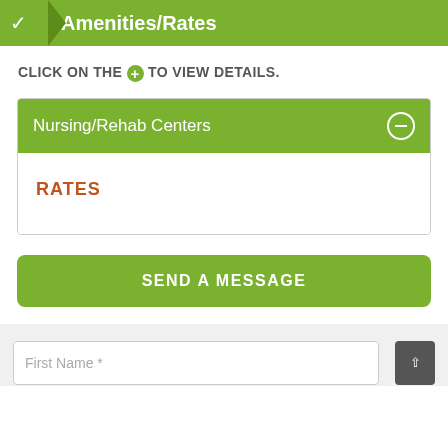Amenities/Rates
CLICK ON THE + TO VIEW DETAILS.
Nursing/Rehab Centers
RATES
SEND A MESSAGE
First Name *